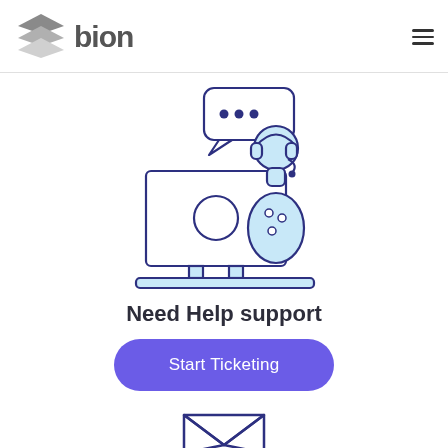[Figure (logo): Bion logo with layered diamond/chevron shapes in grey and the word 'bion' in dark grey bold sans-serif text]
[Figure (illustration): Customer support agent illustration: a person with headset sitting behind a laptop, with a speech bubble showing three dots, in blue and light blue colors]
Need Help support
[Figure (illustration): Start Ticketing button - a purple rounded rectangle button with white text 'Start Ticketing']
[Figure (illustration): Partial email/envelope icon visible at the bottom of the page in dark blue outline style]